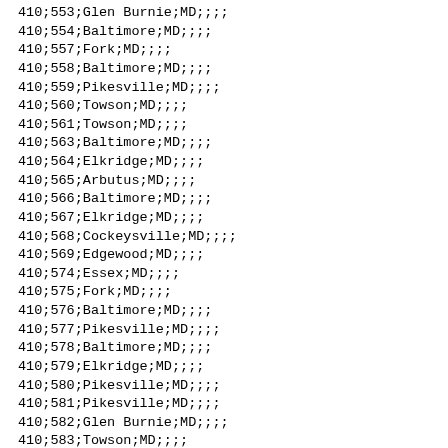410;553;Glen Burnie;MD;;;;
410;554;Baltimore;MD;;;;
410;557;Fork;MD;;;;
410;558;Baltimore;MD;;;;
410;559;Pikesville;MD;;;;
410;560;Towson;MD;;;;
410;561;Towson;MD;;;;
410;563;Baltimore;MD;;;;
410;564;Elkridge;MD;;;;
410;565;Arbutus;MD;;;;
410;566;Baltimore;MD;;;;
410;567;Elkridge;MD;;;;
410;568;Cockeysville;MD;;;;
410;569;Edgewood;MD;;;;
410;574;Essex;MD;;;;
410;575;Fork;MD;;;;
410;576;Baltimore;MD;;;;
410;577;Pikesville;MD;;;;
410;578;Baltimore;MD;;;;
410;579;Elkridge;MD;;;;
410;580;Pikesville;MD;;;;
410;581;Pikesville;MD;;;;
410;582;Glen Burnie;MD;;;;
410;583;Towson;MD;;;;
410;584;Cockeysville;MD;;;;
410;585;Baltimore;MD;;;;
410;587;Arbutus;MD;;;;
410;589;Brooklyn Park-Linthicum;MD;;;;
410;590;Glen Burnie;MD;;;;
410;591;Baltimore;MD;;;;